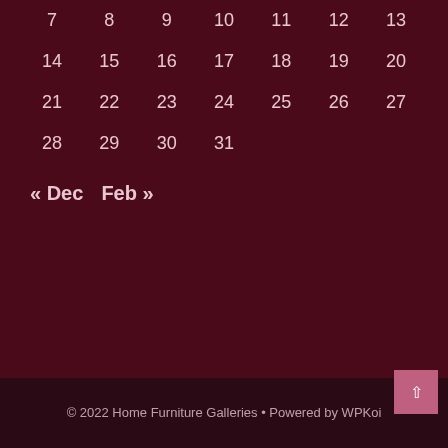| Sun | Mon | Tue | Wed | Thu | Fri | Sat |
| --- | --- | --- | --- | --- | --- | --- |
| 7 | 8 | 9 | 10 | 11 | 12 | 13 |
| 14 | 15 | 16 | 17 | 18 | 19 | 20 |
| 21 | 22 | 23 | 24 | 25 | 26 | 27 |
| 28 | 29 | 30 | 31 |  |  |  |
« Dec   Feb »
© 2022 Home Furniture Galleries • Powered by WPKoi